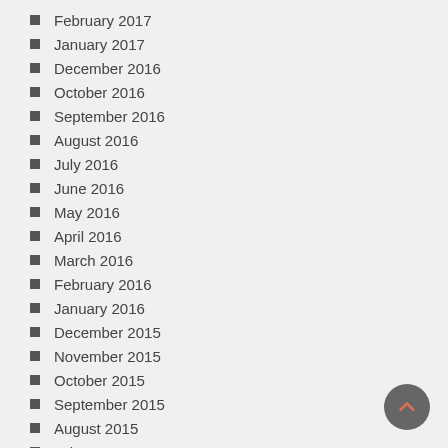February 2017
January 2017
December 2016
October 2016
September 2016
August 2016
July 2016
June 2016
May 2016
April 2016
March 2016
February 2016
January 2016
December 2015
November 2015
October 2015
September 2015
August 2015
July 2015